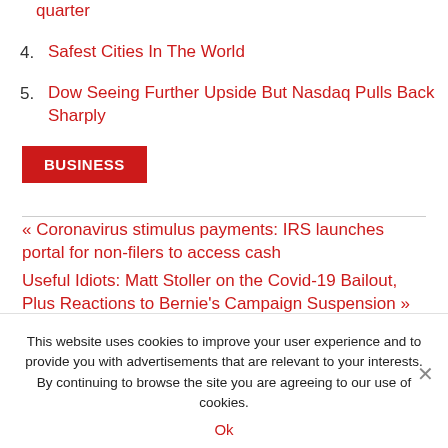quarter
4. Safest Cities In The World
5. Dow Seeing Further Upside But Nasdaq Pulls Back Sharply
BUSINESS
« Coronavirus stimulus payments: IRS launches portal for non-filers to access cash
Useful Idiots: Matt Stoller on the Covid-19 Bailout, Plus Reactions to Bernie's Campaign Suspension »
This website uses cookies to improve your user experience and to provide you with advertisements that are relevant to your interests. By continuing to browse the site you are agreeing to our use of cookies.
Ok